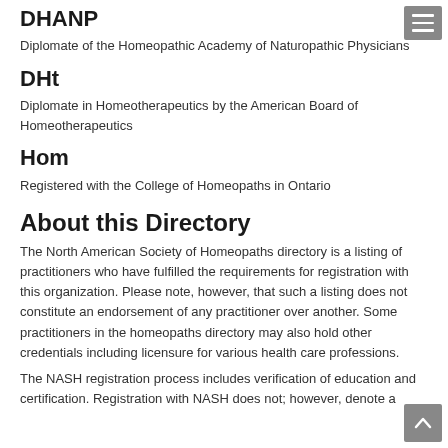DHANP
Diplomate of the Homeopathic Academy of Naturopathic Physicians
DHt
Diplomate in Homeotherapeutics by the American Board of Homeotherapeutics
Hom
Registered with the College of Homeopaths in Ontario
About this Directory
The North American Society of Homeopaths directory is a listing of practitioners who have fulfilled the requirements for registration with this organization. Please note, however, that such a listing does not constitute an endorsement of any practitioner over another. Some practitioners in the homeopaths directory may also hold other credentials including licensure for various health care professions.
The NASH registration process includes verification of education and certification. Registration with NASH does not; however, denote a